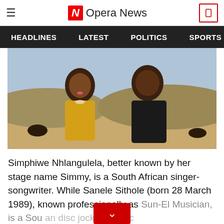Opera News
HEADLINES  LATEST  POLITICS  SPORTS
[Figure (photo): A woman in a yellow dress and a man in a black t-shirt posing outdoors with cattle and a landscape in the background.]
Simphiwe Nhlangulela, better known by her stage name Simmy, is a South African singer-songwriter. While Sanele Sithole (born 28 March 1989), known professionally as Sun-El Musician, is a Sou... an disc jockey, music...